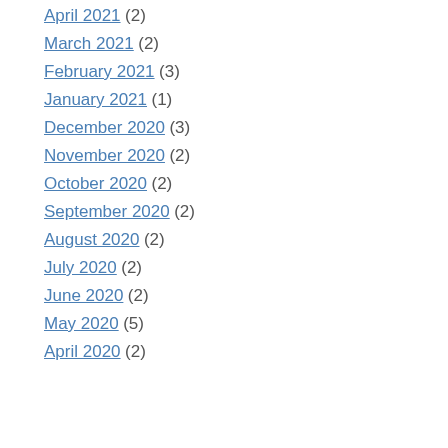April 2021 (2)
March 2021 (2)
February 2021 (3)
January 2021 (1)
December 2020 (3)
November 2020 (2)
October 2020 (2)
September 2020 (2)
August 2020 (2)
July 2020 (2)
June 2020 (2)
May 2020 (5)
April 2020 (2)